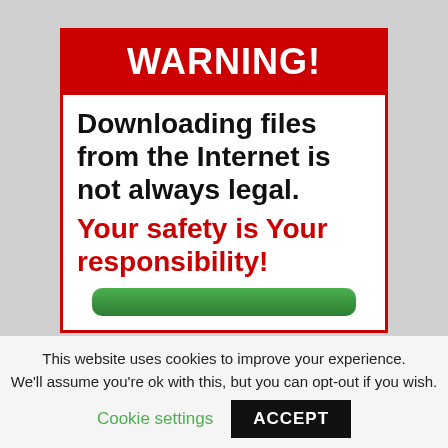WARNING!
Downloading files from the Internet is not always legal. Your safety is Your responsibility!
This website uses cookies to improve your experience.
We'll assume you're ok with this, but you can opt-out if you wish.
Cookie settings
ACCEPT